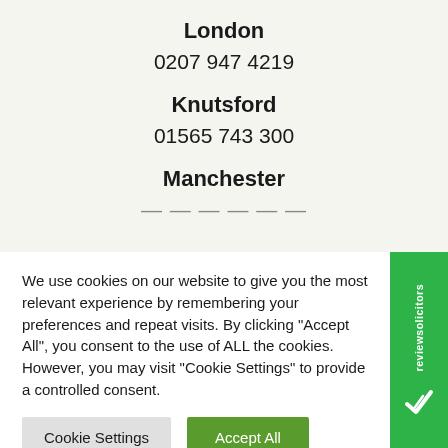London
0207 947 4219
Knutsford
01565 743 300
Manchester
We use cookies on our website to give you the most relevant experience by remembering your preferences and repeat visits. By clicking "Accept All", you consent to the use of ALL the cookies. However, you may visit "Cookie Settings" to provide a controlled consent.
Cookie Settings
Accept All